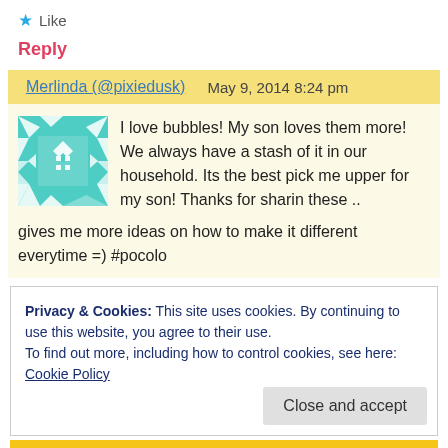★ Like
Reply
Merlinda (@pixiedusk)   May 9, 2014 8:24 pm
[Figure (illustration): Teal/mint colored geometric pattern avatar for Merlinda @pixiedusk]
I love bubbles! My son loves them more! We always have a stash of it in our household. Its the best pick me upper for my son! Thanks for sharin these .. gives me more ideas on how to make it different everytime =) #pocolo
Privacy & Cookies: This site uses cookies. By continuing to use this website, you agree to their use.
To find out more, including how to control cookies, see here: Cookie Policy
Close and accept